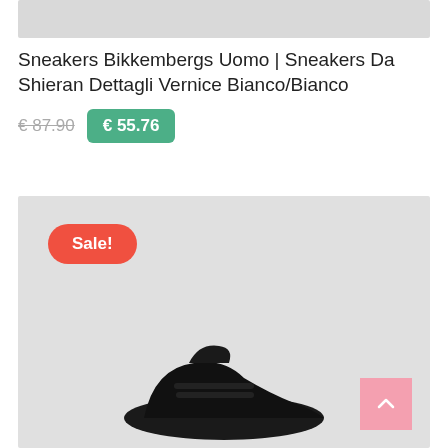[Figure (photo): Top portion of a product image - light gray background]
Sneakers Bikkembergs Uomo | Sneakers Da Shieran Dettagli Vernice Bianco/Bianco
€ 87.90  € 55.76
[Figure (photo): Product image of black sneakers on light gray background with a red 'Sale!' badge in top-left corner and a pink scroll-to-top button in the bottom-right corner]